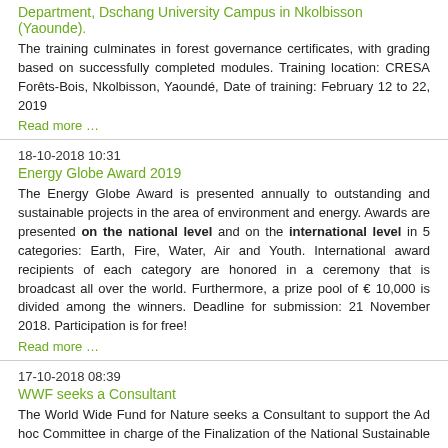Department, Dschang University Campus in Nkolbisson (Yaounde).
The training culminates in forest governance certificates, with grading based on successfully completed modules. Training location: CRESA Forêts-Bois, Nkolbisson, Yaoundé, Date of training: February 12 to 22, 2019
Read more …
18-10-2018 10:31
Energy Globe Award 2019
The Energy Globe Award is presented annually to outstanding and sustainable projects in the area of environment and energy. Awards are presented on the national level and on the international level in 5 categories: Earth, Fire, Water, Air and Youth. International award recipients of each category are honored in a ceremony that is broadcast all over the world. Furthermore, a prize pool of € 10,000 is divided among the winners. Deadline for submission: 21 November 2018. Participation is for free!
Read more …
17-10-2018 08:39
WWF seeks a Consultant
The World Wide Fund for Nature seeks a Consultant to support the Ad hoc Committee in charge of the Finalization of the National Sustainable Palm Oil Strategy (NSPOS). Deadline for applications: 10 days upon publication of offer
Read more …
08-10-2018 11:40
UICN- Monitoring and Evaluation Officer, Conserving Natural Capital and Enhancing Collaborative Management of Transboundary Resources in East Africa (CONNECT) project
The Monitoring and Evaluation (M&E) Officer is responsible for the development and implementation of M&E activities related to the project